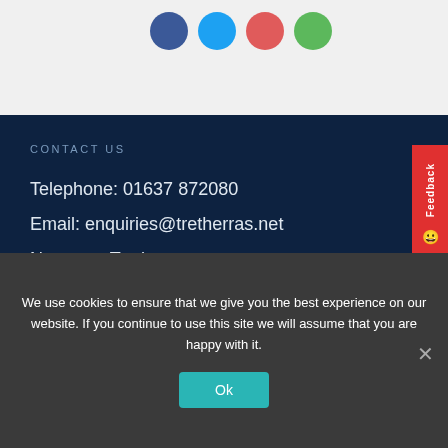[Figure (illustration): Four social media icon circles in a row: dark blue (Facebook), light blue (Twitter), red/pink (Google+), green (other). Partial view at top of page.]
CONTACT US
Telephone: 01637 872080
Email: enquiries@tretherras.net
Newquay Tretherras
Trevenson Road
We use cookies to ensure that we give you the best experience on our website. If you continue to use this site we will assume that you are happy with it.